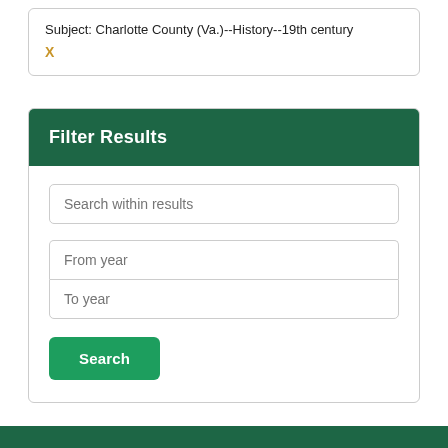Subject: Charlotte County (Va.)--History--19th century
X
Filter Results
Search within results
From year
To year
Search